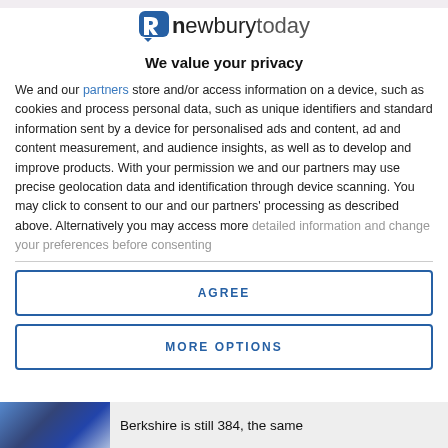[Figure (logo): newburytoday logo with stylized 'n' icon in a speech bubble shape]
We value your privacy
We and our partners store and/or access information on a device, such as cookies and process personal data, such as unique identifiers and standard information sent by a device for personalised ads and content, ad and content measurement, and audience insights, as well as to develop and improve products. With your permission we and our partners may use precise geolocation data and identification through device scanning. You may click to consent to our and our partners' processing as described above. Alternatively you may access more detailed information and change your preferences before consenting
AGREE
MORE OPTIONS
Berkshire is still 384, the same